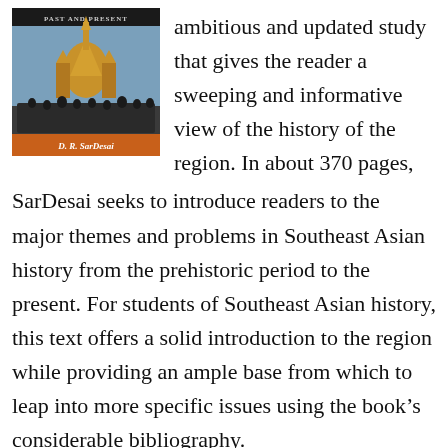[Figure (photo): Book cover of a Southeast Asia history textbook by D. R. SarDesai, showing a golden Buddhist temple with crowds in front, with the text 'PAST AND PRESENT' at the top and 'D. R. SarDesai' on an orange banner.]
ambitious and updated study that gives the reader a sweeping and informative view of the history of the region. In about 370 pages, SarDesai seeks to introduce readers to the major themes and problems in Southeast Asian history from the prehistoric period to the present. For students of Southeast Asian history, this text offers a solid introduction to the region while providing an ample base from which to leap into more specific issues using the book’s considerable bibliography.
The book is organized much like a textbook, despite the…